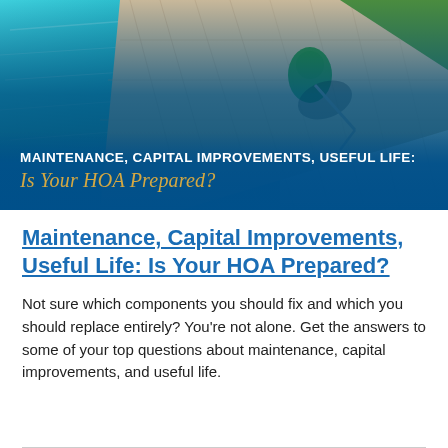[Figure (photo): Aerial view of a worker in green uniform cleaning or maintaining a pool deck with a pressure washer, beside a blue swimming pool and grass. Overlaid text reads: MAINTENANCE, CAPITAL IMPROVEMENTS, USEFUL LIFE: Is Your HOA Prepared?]
Maintenance, Capital Improvements, Useful Life: Is Your HOA Prepared?
Not sure which components you should fix and which you should replace entirely? You're not alone. Get the answers to some of your top questions about maintenance, capital improvements, and useful life.